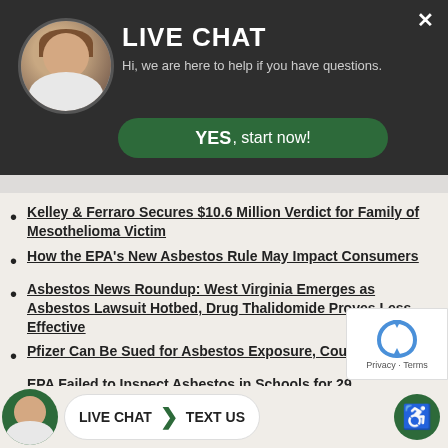[Figure (screenshot): Live chat popup banner with avatar photo, title LIVE CHAT, subtitle text, and YES start now button]
Kelley & Ferraro Secures $10.6 Million Verdict for Family of Mesothelioma Victim
How the EPA's New Asbestos Rule May Impact Consumers
Asbestos News Roundup: West Virginia Emerges as Asbestos Lawsuit Hotbed, Drug Thalidomide Proves Less Effective
Pfizer Can Be Sued for Asbestos Exposure, Cou[rt] Rules
EPA Failed to Inspect Asbestos in Schools for 29 [Years]
[Figure (screenshot): Bottom toolbar with avatar, LIVE CHAT and TEXT US pill button, and accessibility icon]